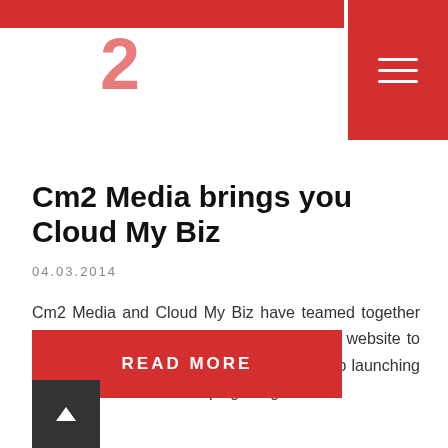2
Cm2 Media brings you Cloud My Biz
04.03.2014
Cm2 Media and Cloud My Biz have teamed together to bring a classic one page mobile friendly website to showcase the world of “Cloud”. We are also launching a full SEO and SEM campaign to get…
READ MORE